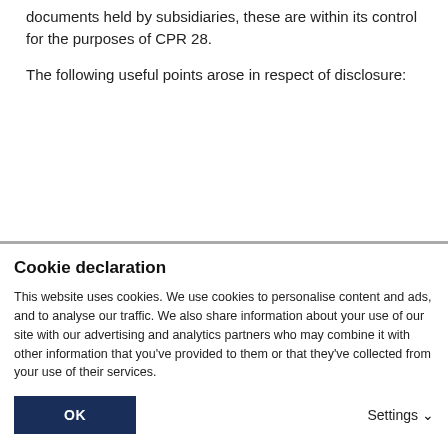documents held by subsidiaries, these are within its control for the purposes of CPR 28.
The following useful points arose in respect of disclosure:
Cookie declaration
This website uses cookies. We use cookies to personalise content and ads, and to analyse our traffic. We also share information about your use of our site with our advertising and analytics partners who may combine it with other information that you’ve provided to them or that they’ve collected from your use of their services.
OK
Settings